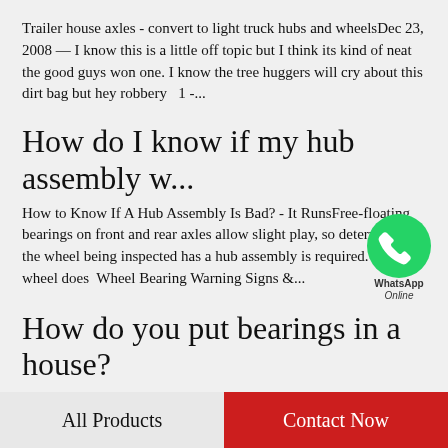Trailer house axles - convert to light truck hubs and wheelsDec 23, 2008 — I know this is a little off topic but I think its kind of neat the good guys won one. I know the tree huggers will cry about this dirt bag but hey robbery  1 -...
How do I know if my hub assembly w...
How to Know If A Hub Assembly Is Bad? - It RunsFree-floating bearings on front and rear axles allow slight play, so determining the wheel being inspected has a hub assembly is required. If the wheel does  Wheel Bearing Warning Signs &...
[Figure (illustration): WhatsApp Online bubble icon - green circle with phone icon, text 'WhatsApp Online']
How do you put bearings in a house?
Ball Bearing Installation - Know Your PartsWhen
All Products    Contact Now